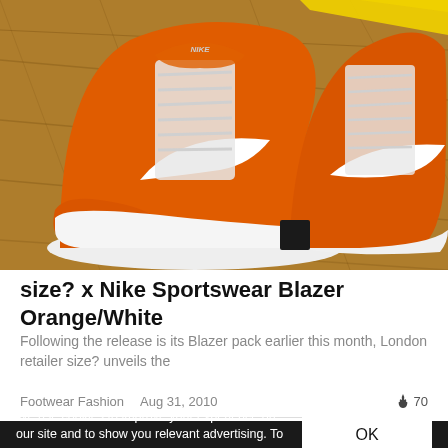[Figure (photo): Two orange and white Nike Sportswear Blazer high-top sneakers on a wooden floor background with yellow tape marks. The shoes feature suede orange upper, white Nike swoosh, and white laces.]
size? x Nike Sportswear Blazer Orange/White
Following the release is its Blazer pack earlier this month, London retailer size? unveils the
Footwear Fashion   Aug 31, 2010   🔥 70
We use cookies to improve your experience on our site and to show you relevant advertising. To find out more, read our privacy policy.